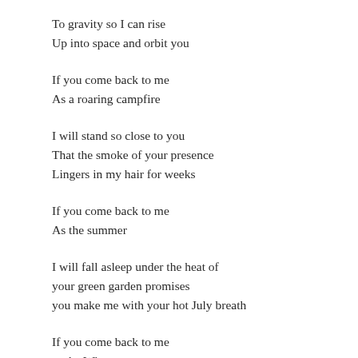To gravity so I can rise
Up into space and orbit you
If you come back to me
As a roaring campfire
I will stand so close to you
That the smoke of your presence
Lingers in my hair for weeks
If you come back to me
As the summer
I will fall asleep under the heat of
your green garden promises
you make me with your hot July breath
If you come back to me
as the Winter
I will exhale so deeply
So I can watch you